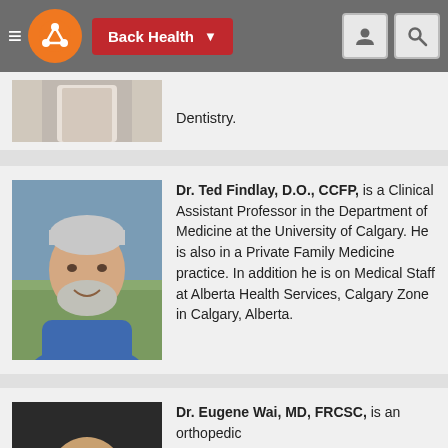Back Health
Dentistry.
Dr. Ted Findlay, D.O., CCFP, is a Clinical Assistant Professor in the Department of Medicine at the University of Calgary. He is also in a Private Family Medicine practice. In addition he is on Medical Staff at Alberta Health Services, Calgary Zone in Calgary, Alberta.
Dr. Eugene Wai, MD, FRCSC, is an orthopedic